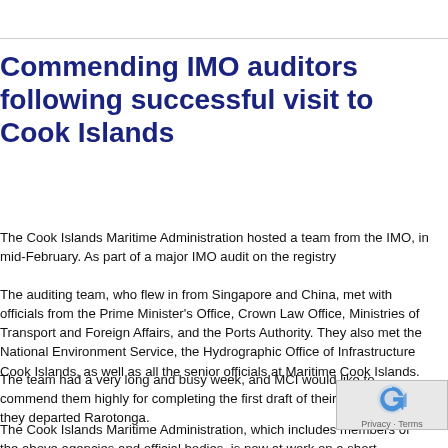Commending IMO auditors following successful visit to Cook Islands
The Cook Islands Maritime Administration hosted a team from the IMO, in mid-February. As part of a major IMO audit on the registry
The auditing team, who flew in from Singapore and China, met with officials from the Prime Minister's Office, Crown Law Office, Ministries of Transport and Foreign Affairs, and the Ports Authority. They also met the National Environment Service, the Hydrographic Office of Infrastructure Cook Islands, as well as all the senior officials at Maritime Cook Islands.
The team had a very long and busy week, and MCI would like to commend them highly for completing the first draft of their report before they departed Rarotonga.
The Cook Islands Maritime Administration, which includes members of the above agencies and official bodies, is now at work on a short